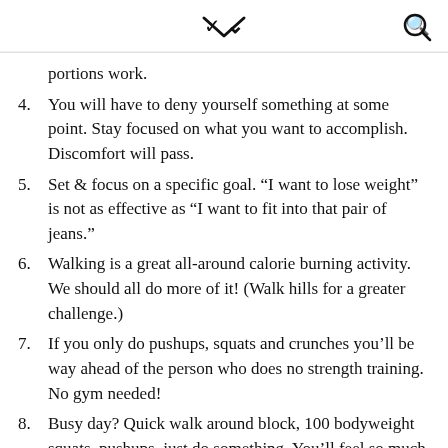▾  🔍
portions work.
4. You will have to deny yourself something at some point. Stay focused on what you want to accomplish. Discomfort will pass.
5. Set & focus on a specific goal. “I want to lose weight” is not as effective as “I want to fit into that pair of jeans.”
6. Walking is a great all-around calorie burning activity. We should all do more of it! (Walk hills for a greater challenge.)
7. If you only do pushups, squats and crunches you’ll be way ahead of the person who does no strength training. No gym needed!
8. Busy day? Quick walk around block, 100 bodyweight squats, pushups–just do something. You’ll feel so much better!
9. [continues below]